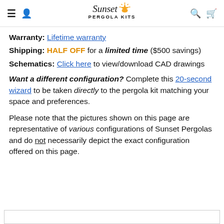Sunset Pergola Kits
Warranty: Lifetime warranty
Shipping: HALF OFF for a limited time ($500 savings)
Schematics: Click here to view/download CAD drawings
Want a different configuration? Complete this 20-second wizard to be taken directly to the pergola kit matching your space and preferences.
Please note that the pictures shown on this page are representative of various configurations of Sunset Pergolas and do not necessarily depict the exact configuration offered on this page.